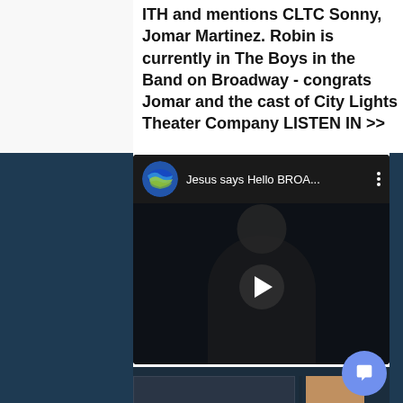ITH and mentions CLTC Sonny, Jomar Martinez. Robin is currently in The Boys in the Band on Broadway - congrats Jomar and the cast of City Lights Theater Company LISTEN IN >>
[Figure (screenshot): YouTube video embed showing 'Jesus says Hello BROA...' with a circular channel avatar showing blue and yellow/green wave design, a dark video thumbnail with a person visible, and a play button in the center.]
[Figure (photo): Partial bottom section showing what appears to be a theater or venue interior image, partially cut off, with a chat/message bubble button overlay in the lower right.]